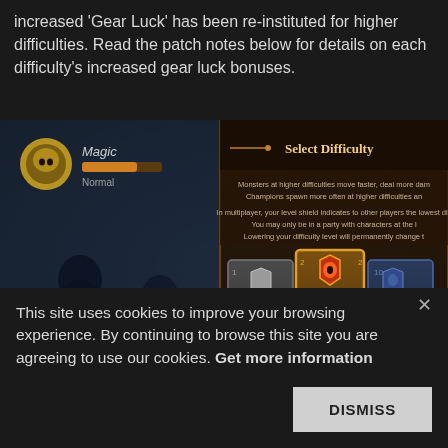increased 'Gear Luck' has been re-instituted for higher difficulties. Read the patch notes below for details on each difficulty's increased gear luck bonuses.
[Figure (screenshot): Screenshot of a game showing a dark fantasy setting with a 'Select Difficulty' dialog overlaid. The dialog shows three difficulty options: Practice, Normal (highlighted with golden border), and Hard. Text in the dialog describes monster behavior at higher difficulties and multiplayer rules.]
This site uses cookies to improve your browsing experience. By continuing to browse this site you are agreeing to use our cookies. Get more information